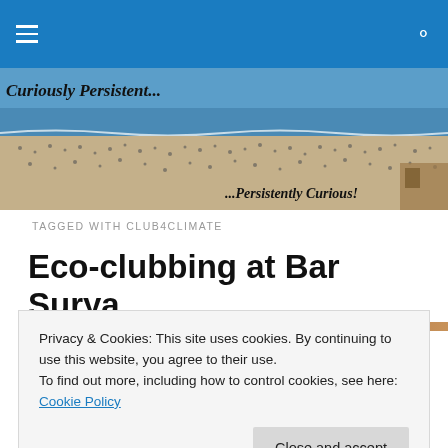Navigation bar with hamburger menu and search icon
[Figure (photo): Beach banner photo with crowded beach and ocean. Text overlay: 'Curiously Persistent...' top left, '...Persistently Curious!' bottom right.]
TAGGED WITH CLUB4CLIMATE
Eco-clubbing at Bar Surya
Privacy & Cookies: This site uses cookies. By continuing to use this website, you agree to their use.
To find out more, including how to control cookies, see here: Cookie Policy
Close and accept